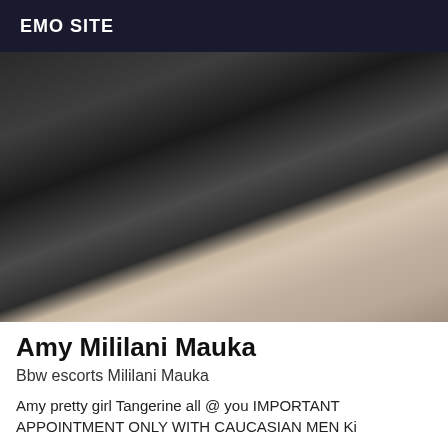EMO SITE
[Figure (photo): Person wearing black fishnet bodysuit posing on a bed with white sheets]
Amy Mililani Mauka
Bbw escorts Mililani Mauka
Amy pretty girl Tangerine all @ you IMPORTANT APPOINTMENT ONLY WITH CAUCASIAN MEN Ki